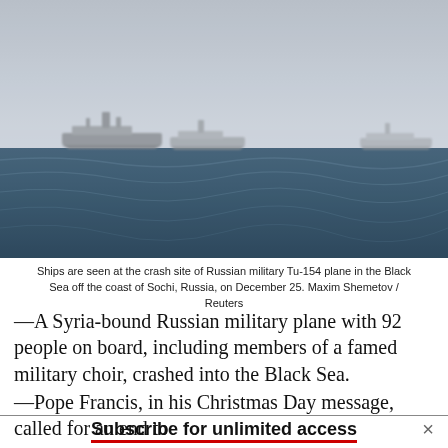[Figure (photo): Ships are seen at the crash site of a Russian military Tu-154 plane in the Black Sea, foggy/overcast sky, dark blue choppy water, two ships visible on the horizon.]
Ships are seen at the crash site of Russian military Tu-154 plane in the Black Sea off the coast of Sochi, Russia, on December 25. Maxim Shemetov / Reuters
—A Syria-bound Russian military plane with 92 people on board, including members of a famed military choir, crashed into the Black Sea.
—Pope Francis, in his Christmas Day message, called for an end to
Subscribe for unlimited access